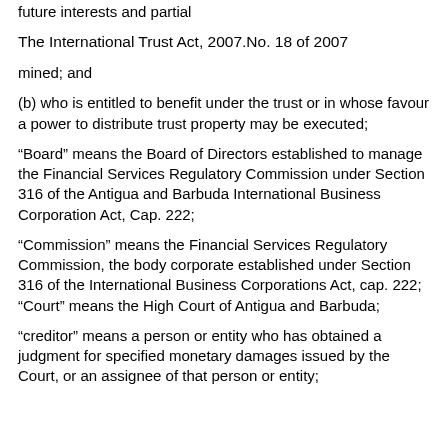future interests and partial
The International Trust Act, 2007.No. 18 of 2007
mined; and
(b) who is entitled to benefit under the trust or in whose favour a power to distribute trust property may be executed;
“Board” means the Board of Directors established to manage the Financial Services Regulatory Commission under Section 316 of the Antigua and Barbuda International Business Corporation Act, Cap. 222;
“Commission” means the Financial Services Regulatory Commission, the body corporate established under Section 316 of the International Business Corporations Act, cap. 222; “Court” means the High Court of Antigua and Barbuda;
“creditor” means a person or entity who has obtained a judgment for specified monetary damages issued by the Court, or an assignee of that person or entity;